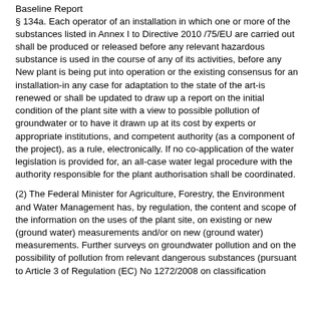Baseline Report
§ 134a. Each operator of an installation in which one or more of the substances listed in Annex I to Directive 2010 /75/EU are carried out shall be produced or released before any relevant hazardous substance is used in the course of any of its activities, before any New plant is being put into operation or the existing consensus for an installation-in any case for adaptation to the state of the art-is renewed or shall be updated to draw up a report on the initial condition of the plant site with a view to possible pollution of groundwater or to have it drawn up at its cost by experts or appropriate institutions, and competent authority (as a component of the project), as a rule, electronically. If no co-application of the water legislation is provided for, an all-case water legal procedure with the authority responsible for the plant authorisation shall be coordinated.
(2) The Federal Minister for Agriculture, Forestry, the Environment and Water Management has, by regulation, the content and scope of the information on the uses of the plant site, on existing or new (ground water) measurements and/or on new (ground water) measurements. Further surveys on groundwater pollution and on the possibility of pollution from relevant dangerous substances (pursuant to Article 3 of Regulation (EC) No 1272/2008 on classification